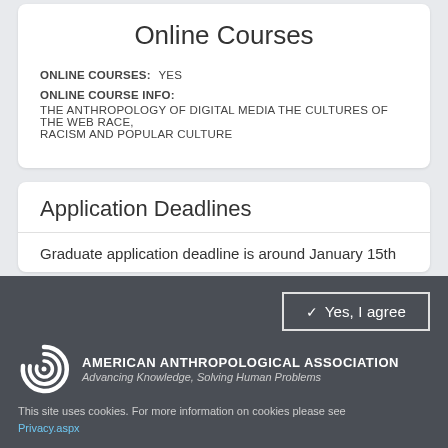Online Courses
ONLINE COURSES: YES
ONLINE COURSE INFO:
THE ANTHROPOLOGY OF DIGITAL MEDIA THE CULTURES OF THE WEB RACE, RACISM AND POPULAR CULTURE
Application Deadlines
Graduate application deadline is around January 15th
Yes, I agree
[Figure (logo): American Anthropological Association spiral logo]
AMERICAN ANTHROPOLOGICAL ASSOCIATION
Advancing Knowledge, Solving Human Problems
This site uses cookies. For more information on cookies please see Privacy.aspx